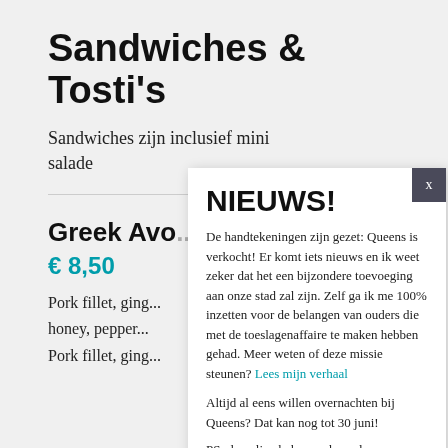Sandwiches & Tosti's
Sandwiches zijn inclusief mini salade
Greek Avo...
€ 8,50
Pork fillet, ging... honey, pepper... Pork fillet, ging...
NIEUWS!
De handtekeningen zijn gezet: Queens is verkocht! Er komt iets nieuws en ik weet zeker dat het een bijzondere toevoeging aan onze stad zal zijn. Zelf ga ik me 100% inzetten voor de belangen van ouders die met de toeslagenaffaire te maken hebben gehad. Meer weten of deze missie steunen? Lees mijn verhaal
Altijd al eens willen overnachten bij Queens? Dat kan nog tot 30 juni!
PS: de online bakery zal worden voortgezet. Hierover later meer!